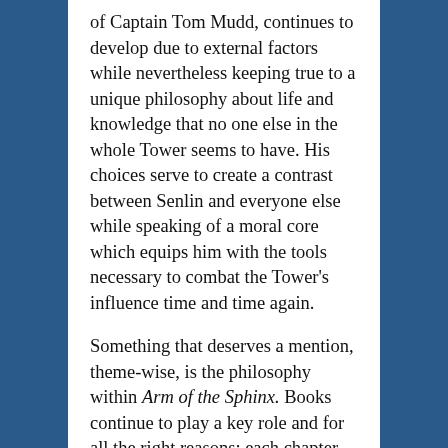of Captain Tom Mudd, continues to develop due to external factors while nevertheless keeping true to a unique philosophy about life and knowledge that no one else in the whole Tower seems to have. His choices serve to create a contrast between Senlin and everyone else while speaking of a moral core which equips him with the tools necessary to combat the Tower's influence time and time again.
Something that deserves a mention, theme-wise, is the philosophy within Arm of the Sphinx. Books continue to play a key role and for all the right reasons; each chapter starts off with epigraphs from in-universe novels or diaries. A conflict this novel sets up is the dangers of education versus those